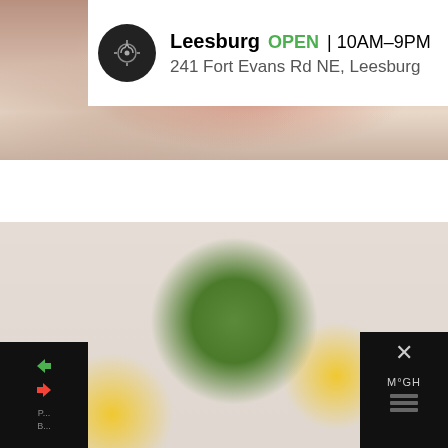[Figure (photo): Partial photo of people, cropped at top, warm tones showing hands/arms]
[Figure (photo): Food flatlay showing vegetables including kale, lemon slices, beets, cucumber on light background with white text overlay]
THE PEGAN DIET (PALEO VEGAN) | A DIETITIAN'S GUIDE TO RISKS VS BENEFITS
Leesburg   OPEN | 10AM–9PM
241 Fort Evans Rd NE, Leesburg